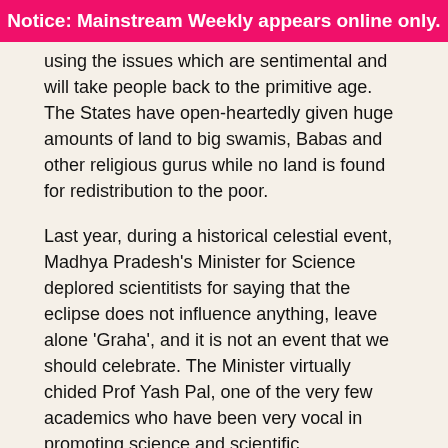Notice: Mainstream Weekly appears online only.
using the issues which are sentimental and will take people back to the primitive age. The States have open-heartedly given huge amounts of land to big swamis, Babas and other religious gurus while no land is found for redistribution to the poor.
Last year, during a historical celestial event, Madhya Pradesh's Minister for Science deplored scientitists for saying that the eclipse does not influence anything, leave alone ‘Graha’, and it is not an event that we should celebrate. The Minister virtually chided Prof Yash Pal, one of the very few academics who have been very vocal in promoting science and scientific temperament in the country, saying that he was speaking against ‘proven’ Indian values. In Madhya Pradesh, the schools are forced to do ‘Surya Namaskar’. In both Karnataka and Madhya Pradesh, the schools have been asked to educate students about Gita, the holy text of the brahmanical Hindus. The Ministers for